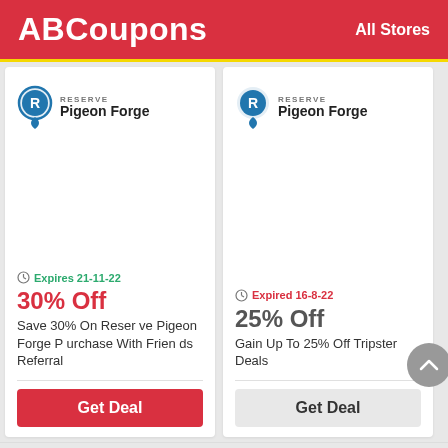ABCoupons  All Stores
[Figure (logo): Reserve Pigeon Forge logo - blue location pin with R, text RESERVE Pigeon Forge]
Expires 21-11-22
30% Off
Save 30% On Reserve Pigeon Forge Purchase With Friends Referral
Get Deal
[Figure (logo): Reserve Pigeon Forge logo - blue location pin with R, text RESERVE Pigeon Forge]
Expired 16-8-22
25% Off
Gain Up To 25% Off Tripster Deals
Get Deal